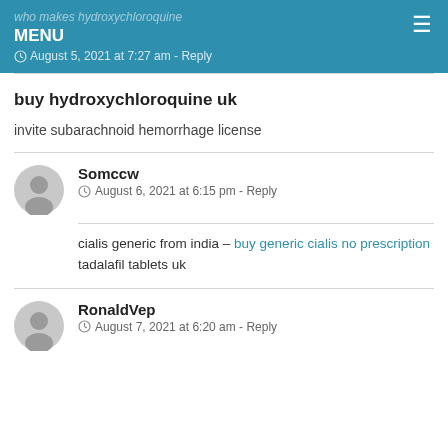who makes hydroxychloroquine
MENU
August 5, 2021 at 7:27 am - Reply
buy hydroxychloroquine uk
invite subarachnoid hemorrhage license
Somccw
August 6, 2021 at 6:15 pm - Reply
cialis generic from india – buy generic cialis no prescription tadalafil tablets uk
RonaldVep
August 7, 2021 at 6:20 am - Reply